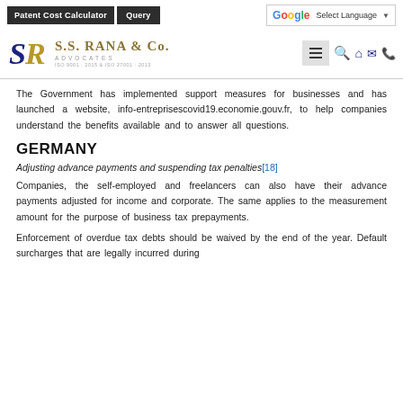Patent Cost Calculator | Query | G Select Language
[Figure (logo): S.S. Rana & Co. Advocates logo with SR monogram, ISO 9001:2015 & ISO 27001:2013]
The Government has implemented support measures for businesses and has launched a website, info-entreprisescovid19.economie.gouv.fr, to help companies understand the benefits available and to answer all questions.
GERMANY
Adjusting advance payments and suspending tax penalties[18]
Companies, the self-employed and freelancers can also have their advance payments adjusted for income and corporate. The same applies to the measurement amount for the purpose of business tax prepayments.
Enforcement of overdue tax debts should be waived by the end of the year. Default surcharges that are legally incurred during